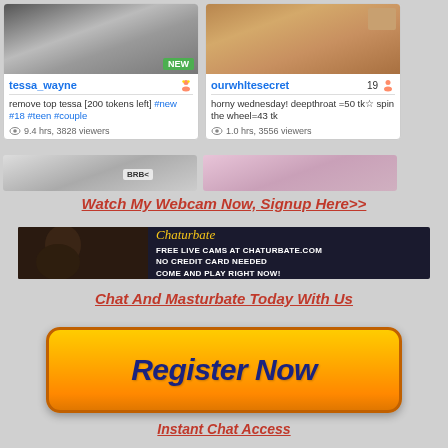[Figure (screenshot): Cam card for tessa_wayne: thumbnail image, username, description with hashtags, viewer count]
[Figure (screenshot): Cam card for ourwhitesecret: thumbnail image, age 19, username, description, viewer count]
[Figure (screenshot): Partial cam card row 2 left - BRB overlay]
[Figure (screenshot): Partial cam card row 2 right - purple tinted room]
Watch My Webcam Now, Signup Here>>
[Figure (photo): Chaturbate banner ad: FREE LIVE CAMS AT CHATURBATE.COM NO CREDIT CARD NEEDED COME AND PLAY RIGHT NOW!]
Chat And Masturbate Today With Us
[Figure (infographic): Orange Register Now button]
Instant Chat Access